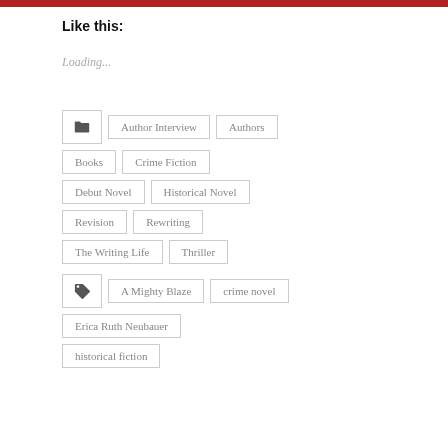Like this:
Loading...
Author Interview
Authors
Books
Crime Fiction
Debut Novel
Historical Novel
Revision
Rewriting
The Writing Life
Thriller
A Mighty Blaze
crime novel
Erica Ruth Neubauer
historical fiction